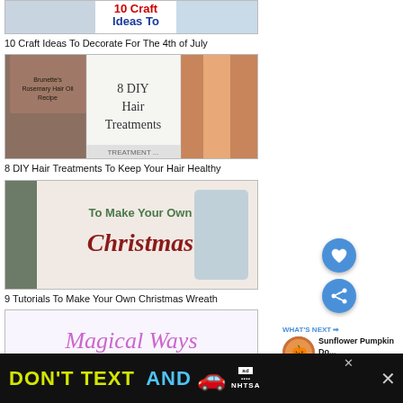[Figure (screenshot): Thumbnail for 10 Craft Ideas To Decorate For The 4th of July — partial view at top]
10 Craft Ideas To Decorate For The 4th of July
[Figure (screenshot): Thumbnail collage for 8 DIY Hair Treatments — shows hair care images and text]
8 DIY Hair Treatments To Keep Your Hair Healthy
[Figure (screenshot): Thumbnail for 9 Tutorials To Make Your Own Christmas Wreath — green text on light background]
9 Tutorials To Make Your Own Christmas Wreath
[Figure (screenshot): Thumbnail for Magical Ways article — cursive purple text on white background]
[Figure (screenshot): Sidebar: What's Next — Sunflower Pumpkin Do...]
[Figure (screenshot): Advertisement banner: DON'T TEXT AND [car emoji] — NHTSA safety campaign]